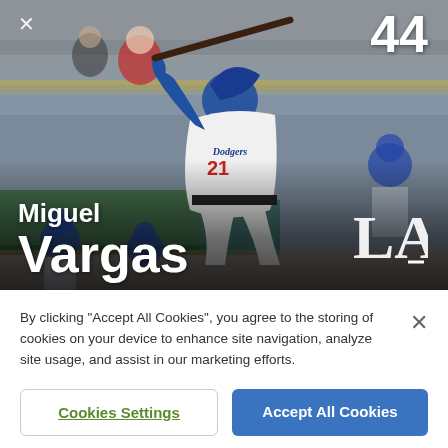[Figure (photo): Baseball player Miguel Vargas in Los Angeles Dodgers uniform mid-swing, wearing #21, at a stadium with crowd in background. Jersey number 44 appears in top-right corner with an X close button in top-left.]
Miguel Vargas
By clicking "Accept All Cookies", you agree to the storing of cookies on your device to enhance site navigation, analyze site usage, and assist in our marketing efforts.
Cookies Settings
Accept All Cookies